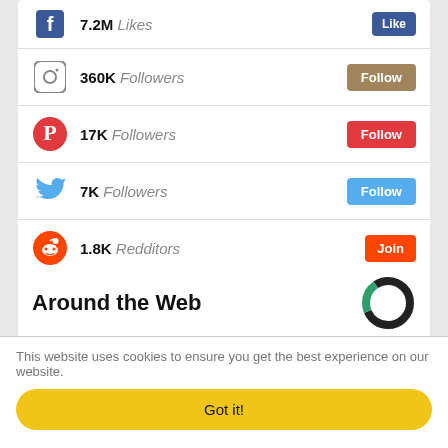7.2M Likes — Like (Facebook)
360K Followers — Follow (Instagram)
17K Followers — Follow (Pinterest)
7K Followers — Follow (Twitter)
1.8K Redditors — Join (Reddit)
Subscribe Followers — Follow (YouTube)
Follow Followers — Follow (Telegram)
Around the Web
This website uses cookies to ensure you get the best experience on our website.
Got it!